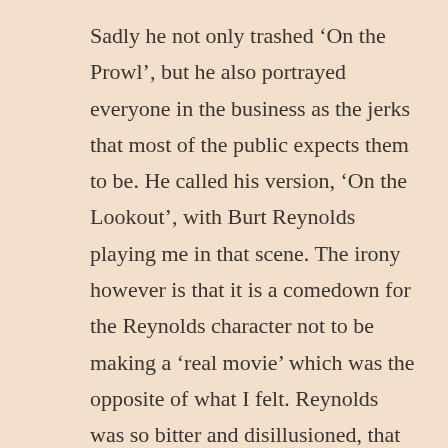Sadly he not only trashed ‘On the Prowl’, but he also portrayed everyone in the business as the jerks that most of the public expects them to be. He called his version, ‘On the Lookout’, with Burt Reynolds playing me in that scene. The irony however is that it is a comedown for the Reynolds character not to be making a ‘real movie’ which was the opposite of what I felt. Reynolds was so bitter and disillusioned, that the scene ends violently with a guy who they pick up being savagely beaten.
I also listened to the commentary track that Paul Thomas Anderson recorded. He